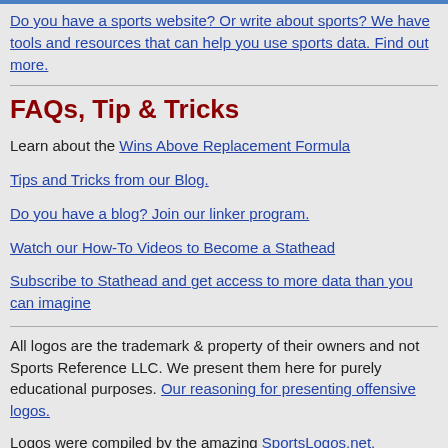Do you have a sports website? Or write about sports? We have tools and resources that can help you use sports data. Find out more.
FAQs, Tip & Tricks
Learn about the Wins Above Replacement Formula
Tips and Tricks from our Blog.
Do you have a blog? Join our linker program.
Watch our How-To Videos to Become a Stathead
Subscribe to Stathead and get access to more data than you can imagine
All logos are the trademark & property of their owners and not Sports Reference LLC. We present them here for purely educational purposes. Our reasoning for presenting offensive logos.
Logos were compiled by the amazing SportsLogos.net.